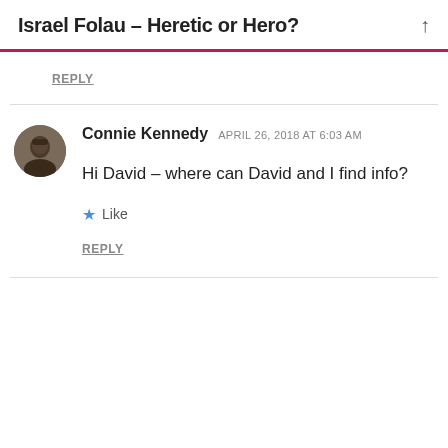Israel Folau – Heretic or Hero?
REPLY
Connie Kennedy  APRIL 26, 2018 AT 6:03 AM
Hi David – where can David and I find info?
Like
REPLY